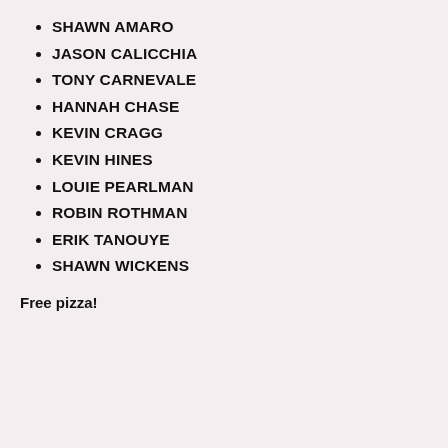SHAWN AMARO
JASON CALICCHIA
TONY CARNEVALE
HANNAH CHASE
KEVIN CRAGG
KEVIN HINES
LOUIE PEARLMAN
ROBIN ROTHMAN
ERIK TANOUYE
SHAWN WICKENS
Free pizza!